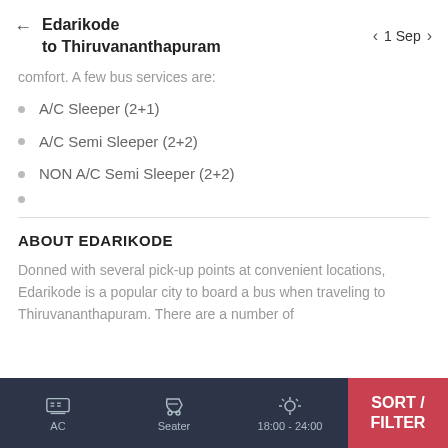Edarikode to Thiruvananthapuram — 1 Sep
comfort. A few bus services are:
A/C Sleeper (2+1)
A/C Semi Sleeper (2+2)
NON A/C Semi Sleeper (2+2)
ABOUT EDARIKODE
Donned with several pick-up points at convenient locations, Edarikode is a popular city to board a bus when traveling to Thiruvananthapuram. There are a number of
AC   Seater   18:00 - 24:00   SORT / FILTER